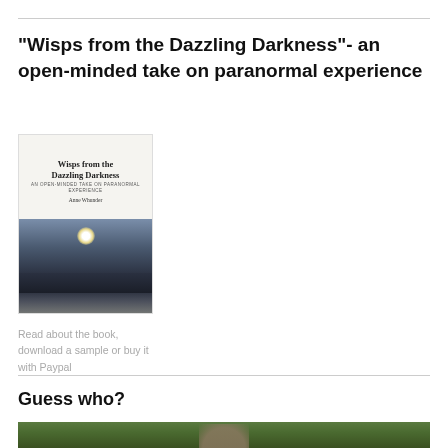“Wisps from the Dazzling Darkness”- an open-minded take on paranormal experience
[Figure (photo): Book cover of 'Wisps from the Dazzling Darkness' by Anne Whunder showing the title text at top and a dramatic landscape photo with sun rays over dark terrain below]
Read about the book, download a sample or buy it with Paypal
Guess who?
[Figure (photo): Partial photo at bottom of page showing green foliage with a partially visible figure]